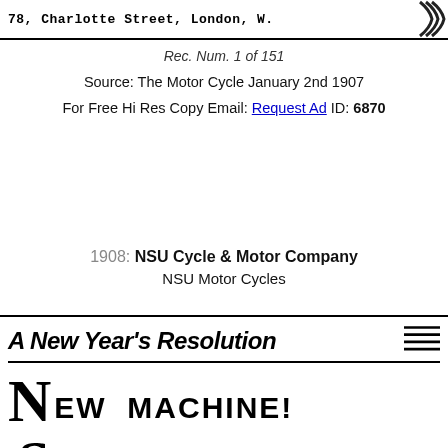78, Charlotte Street, London, W.
Rec. Num. 1 of 151
Source: The Motor Cycle January 2nd 1907
For Free Hi Res Copy Email: Request Ad ID: 6870
1908: NSU Cycle & Motor Company
NSU Motor Cycles
[Figure (illustration): Vintage advertisement: 'A New Year's Resolution' header with striped corner graphic, followed by large drop-cap N 'EW MACHINE!' and drop-cap S 'UCCESSFUL TIME!' in bold typography]